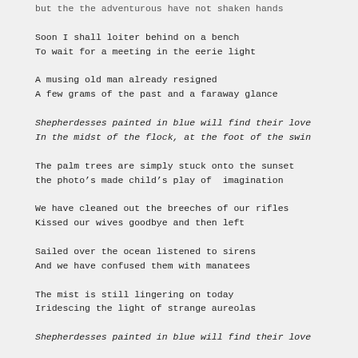but the the adventurous have not shaken hands
Soon I shall loiter behind on a bench
To wait for a meeting in the eerie light
A musing old man already resigned
A few grams of the past and a faraway glance
Shepherdesses painted in blue will find their love
In the midst of the flock, at the foot of the swin
The palm trees are simply stuck onto the sunset
the photo’s made child’s play of  imagination
We have cleaned out the breeches of our rifles
Kissed our wives goodbye and then left
Sailed over the ocean listened to sirens
And we have confused them with manatees
The mist is still lingering on today
Iridescing the light of strange aureolas
Shepherdesses painted in blue will find their love